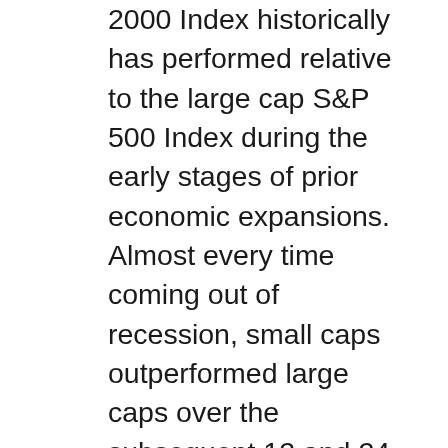2000 Index historically has performed relative to the large cap S&P 500 Index during the early stages of prior economic expansions. Almost every time coming out of recession, small caps outperformed large caps over the subsequent 12 and 24 months; they outperformed by an average of 10.1% over the first year and 12.5% over the subsequent two years (on an annualized basis). We think this historical trend bodes well for small caps in 2021, though we acknowledge some excess returns probably have been pulled forward and already achieved with the